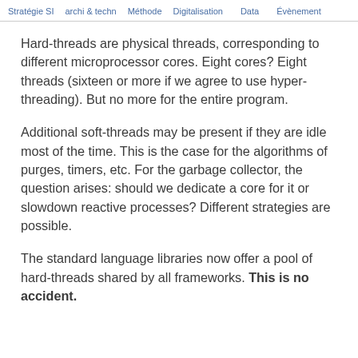Stratégie SI   archi & techn   Méthode   Digitalisation   Data   Évènement
Hard-threads are physical threads, corresponding to different microprocessor cores. Eight cores? Eight threads (sixteen or more if we agree to use hyper-threading). But no more for the entire program.
Additional soft-threads may be present if they are idle most of the time. This is the case for the algorithms of purges, timers, etc. For the garbage collector, the question arises: should we dedicate a core for it or slowdown reactive processes? Different strategies are possible.
The standard language libraries now offer a pool of hard-threads shared by all frameworks. This is no accident.